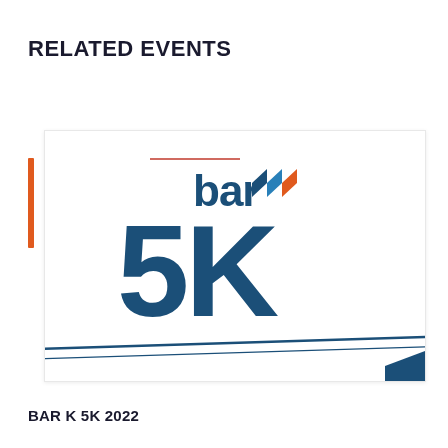RELATED EVENTS
[Figure (logo): Bar K 5K 2022 event logo featuring 'bar K' text with orange and blue chevron arrows above large '5K' text in dark blue, with diagonal stripe lines at the bottom]
BAR K 5K 2022